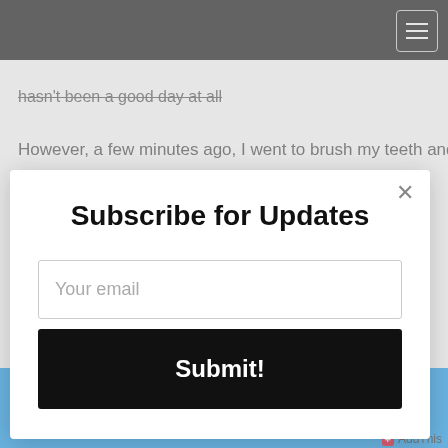hasn't been a good day at all
However, a few minutes ago, I went to brush my teeth and
[Figure (screenshot): Subscribe for Updates modal dialog with email input and Submit button, overlaying a webpage with a black navigation bar and blue footer strip]
AddThis